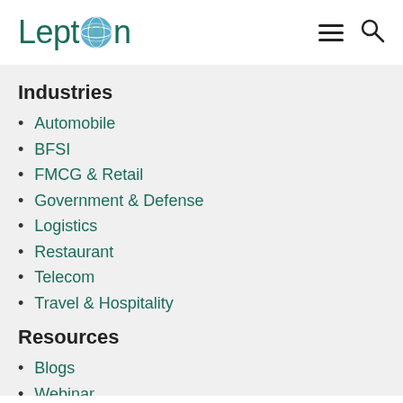[Figure (logo): Lepton logo with globe icon replacing the 'o', teal/green color text]
Industries
Automobile
BFSI
FMCG & Retail
Government & Defense
Logistics
Restaurant
Telecom
Travel & Hospitality
Resources
Blogs
Webinar